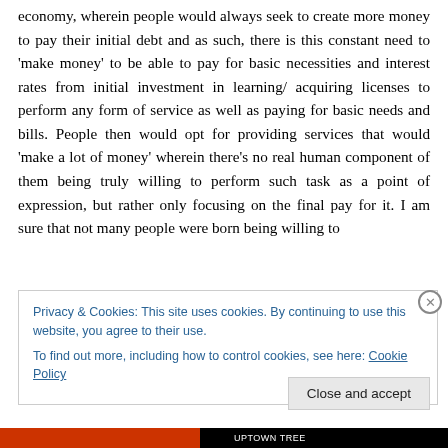economy, wherein people would always seek to create more money to pay their initial debt and as such, there is this constant need to 'make money' to be able to pay for basic necessities and interest rates from initial investment in learning/ acquiring licenses to perform any form of service as well as paying for basic needs and bills. People then would opt for providing services that would 'make a lot of money' wherein there's no real human component of them being truly willing to perform such task as a point of expression, but rather only focusing on the final pay for it. I am sure that not many people were born being willing to
Privacy & Cookies: This site uses cookies. By continuing to use this website, you agree to their use.
To find out more, including how to control cookies, see here: Cookie Policy
Close and accept